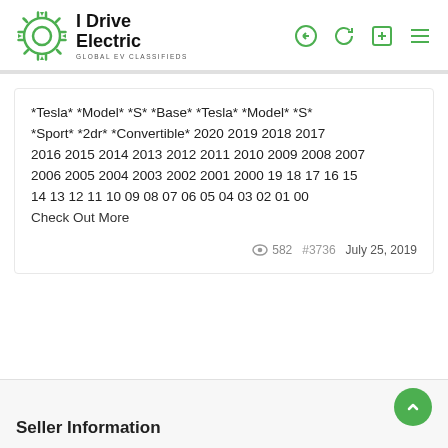I Drive Electric — GLOBAL EV CLASSIFIEDS
*Tesla* *Model* *S* *Base* *Tesla* *Model* *S* *Sport* *2dr* *Convertible* 2020 2019 2018 2017 2016 2015 2014 2013 2012 2011 2010 2009 2008 2007 2006 2005 2004 2003 2002 2001 2000 19 18 17 16 15 14 13 12 11 10 09 08 07 06 05 04 03 02 01 00 Check Out More
582  #3736  July 25, 2019
Seller Information